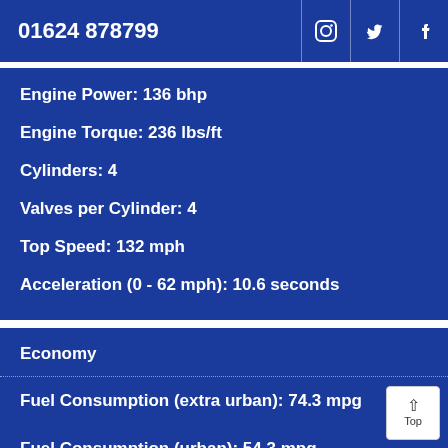01624 878799
Engine Power: 136 bhp
Engine Torque: 236 lbs/ft
Cylinders: 4
Valves per Cylinder: 4
Top Speed: 132 mph
Acceleration (0 - 62 mph): 10.6 seconds
Economy
Fuel Consumption (extra urban): 74.3 mpg
Fuel Consumption (urban): 54.3 mpg
Fuel Consumption (combined): 65.7 mpg